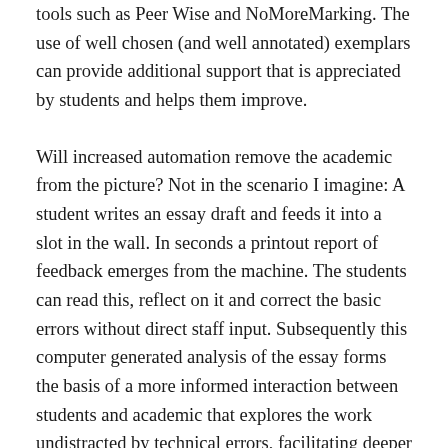tools such as Peer Wise and NoMoreMarking. The use of well chosen (and well annotated) exemplars can provide additional support that is appreciated by students and helps them improve.
Will increased automation remove the academic from the picture? Not in the scenario I imagine: A student writes an essay draft and feeds it into a slot in the wall. In seconds a printout report of feedback emerges from the machine. The students can read this, reflect on it and correct the basic errors without direct staff input. Subsequently this computer generated analysis of the essay forms the basis of a more informed interaction between students and academic that explores the work undistracted by technical errors, facilitating deeper learning and so